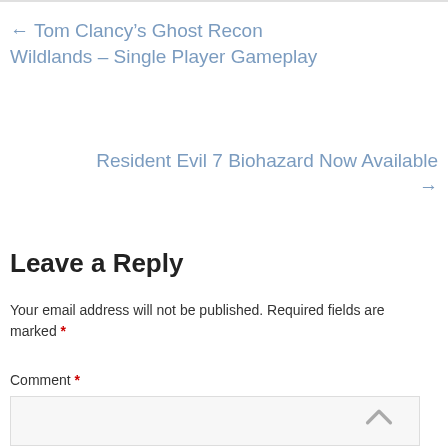← Tom Clancy's Ghost Recon Wildlands – Single Player Gameplay
Resident Evil 7 Biohazard Now Available →
Leave a Reply
Your email address will not be published. Required fields are marked *
Comment *